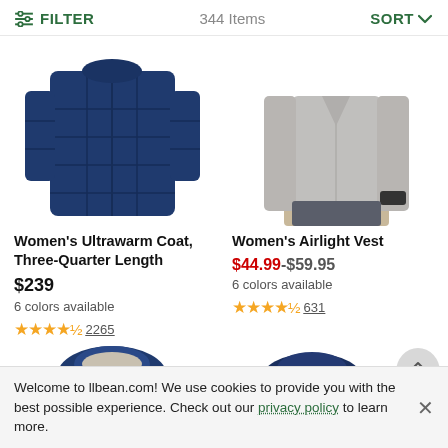FILTER   344 Items   SORT
[Figure (photo): Women's navy blue quilted ultrawarm coat, three-quarter length, shown on white background]
[Figure (photo): Woman wearing grey Women's Airlight Vest, shown from front on white background]
Women's Ultrawarm Coat, Three-Quarter Length
$239
6 colors available
★★★★½ 2265
Women's Airlight Vest
$44.99-$59.95
6 colors available
★★★★½ 631
[Figure (photo): Bottom partial view of navy blue quilted item]
[Figure (photo): Bottom partial view of dark navy packable item]
Welcome to llbean.com! We use cookies to provide you with the best possible experience. Check out our privacy policy to learn more.